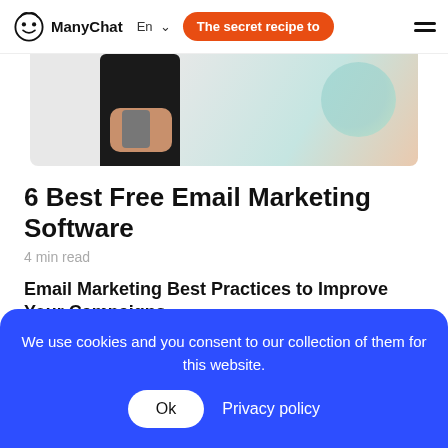ManyChat  En  The secret recipe to
[Figure (photo): Person holding a smartphone, with a teal/peach decorative blob in the background]
6 Best Free Email Marketing Software
4 min read
Email Marketing Best Practices to Improve Your Campaigns
9 min read
We use cookies and you consent to our collection of them for this website.
Ok  Privacy policy